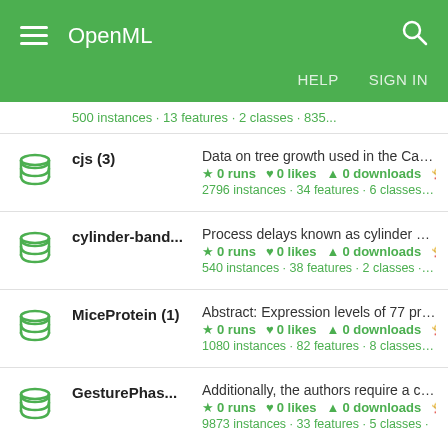OpenML — HELP  SIGN IN
500 instances · 13 features · 2 classes · 835...
cjs (3) — Data on tree growth used in the Case St... — 0 runs, 0 likes, 0 downloads, 0... — 2796 instances · 34 features · 6 classes · 68...
cylinder-band... — Process delays known as cylinder bandi... — 0 runs, 0 likes, 0 downloads, 0... — 540 instances · 38 features · 2 classes · 999...
MiceProtein (1) — Abstract: Expression levels of 77 protein... — 0 runs, 0 likes, 0 downloads, 0... — 1080 instances · 82 features · 8 classes · 13...
GesturePhas... — Additionally, the authors require a citatio... — 0 runs, 0 likes, 0 downloads, 0... — 9873 instances · 33 features · 5 classes...